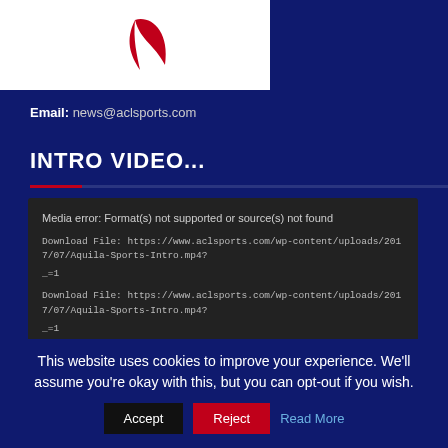[Figure (logo): ACL Sports logo — red swoosh/feather graphic on white background]
Email: news@aclsports.com
INTRO VIDEO...
Media error: Format(s) not supported or source(s) not found
Download File: https://www.aclsports.com/wp-content/uploads/2017/07/Aquila-Sports-Intro.mp4?
_=1
Download File: https://www.aclsports.com/wp-content/uploads/2017/07/Aquila-Sports-Intro.mp4?
_=1
This website uses cookies to improve your experience. We'll assume you're okay with this, but you can opt-out if you wish.